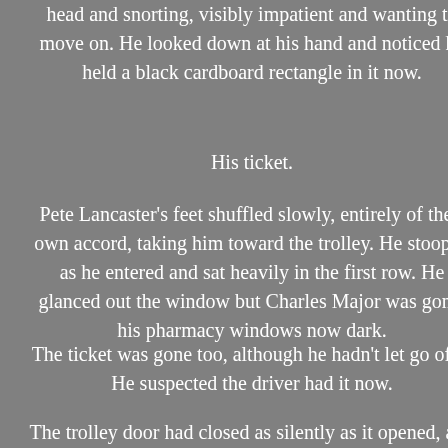head and snorting, visibly impatient and wanting to move on. He looked down at his hand and noticed he held a black cardboard rectangle in it now.
His ticket.
Pete Lancaster's feet shuffled slowly, entirely of their own accord, taking him toward the trolley. He stooped as he entered and sat heavily in the first row. He glanced out the window but Charles Major was gone, his pharmacy windows now dark.
The ticket was gone too, although he hadn't let go of it. He suspected the driver had it now.
The trolley door had closed as silently as it opened, and Pete felt the tug of the harness as